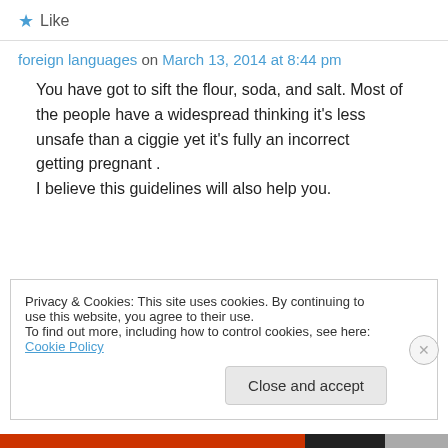★ Like
foreign languages on March 13, 2014 at 8:44 pm
You have got to sift the flour, soda, and salt. Most of the people have a widespread thinking it's less unsafe than a ciggie yet it's fully an incorrect getting pregnant . I believe this guidelines will also help you.
Privacy & Cookies: This site uses cookies. By continuing to use this website, you agree to their use. To find out more, including how to control cookies, see here: Cookie Policy
Close and accept